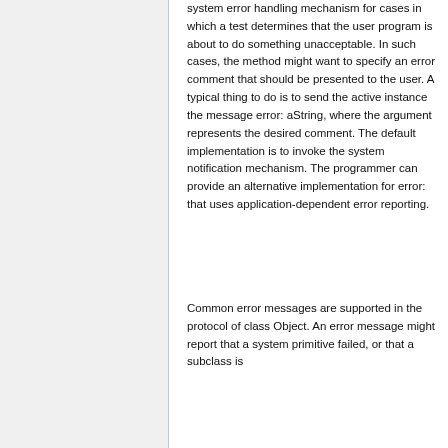system error handling mechanism for cases in which a test determines that the user program is about to do something unacceptable. In such cases, the method might want to specify an error comment that should be presented to the user. A typical thing to do is to send the active instance the message error: aString, where the argument represents the desired comment. The default implementation is to invoke the system notification mechanism. The programmer can provide an alternative implementation for error: that uses application-dependent error reporting.
Common error messages are supported in the protocol of class Object. An error message might report that a system primitive failed, or that a subclass is